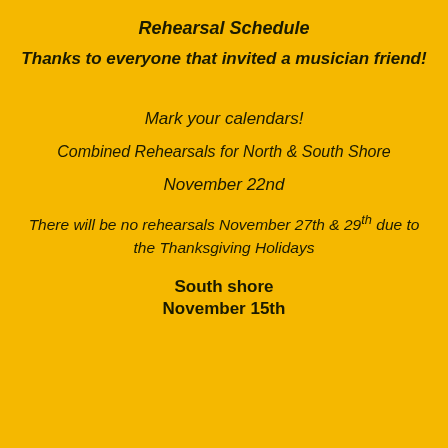Rehearsal Schedule
Thanks to everyone that invited a musician friend!
Mark your calendars!
Combined Rehearsals for North & South Shore
November 22nd
There will be no rehearsals November 27th & 29th due to the Thanksgiving Holidays
South shore
November 15th